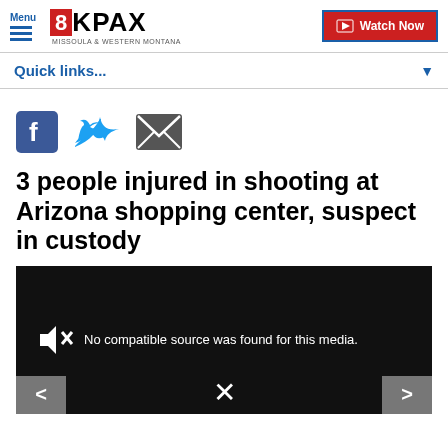Menu | 8KPAX Missoula & Western Montana | Watch Now
Quick links...
[Figure (other): Social sharing icons: Facebook, Twitter, Email]
3 people injured in shooting at Arizona shopping center, suspect in custody
[Figure (other): Video media player showing: No compatible source was found for this media.]